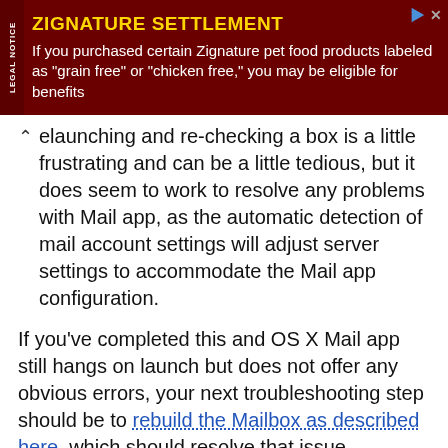[Figure (other): Advertisement banner for Zignature Settlement. Dark red background with 'LEGAL NOTICE' text on left side. Yellow bold title 'ZIGNATURE SETTLEMENT' followed by white body text: 'If you purchased certain Zignature pet food products labeled as "grain free" or "chicken free," you may be eligible for benefits']
elaunching and re-checking a box is a little frustrating and can be a little tedious, but it does seem to work to resolve any problems with Mail app, as the automatic detection of mail account settings will adjust server settings to accommodate the Mail app configuration.
If you've completed this and OS X Mail app still hangs on launch but does not offer any obvious errors, your next troubleshooting step should be to rebuild the Mailbox as described here, which should resolve that issue.
That should resolve whatever Mail problems have occurred in OS X after installing OS X 10.10.4 or OS X 10.11 El Capitan, but if you continue to encounter